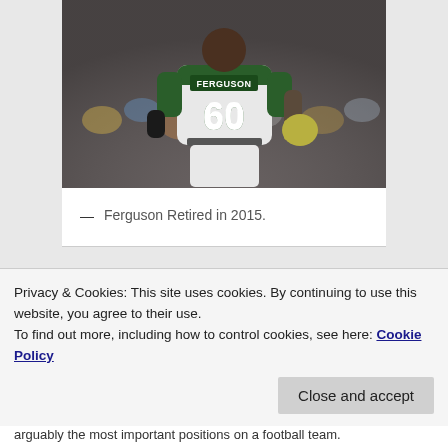[Figure (photo): Football player #60 Ferguson wearing New York Jets uniform, seen from behind, holding helmet, standing on field with crowd in background]
— Ferguson Retired in 2015.
Privacy & Cookies: This site uses cookies. By continuing to use this website, you agree to their use.
To find out more, including how to control cookies, see here: Cookie Policy
arguably the most important positions on a football team.